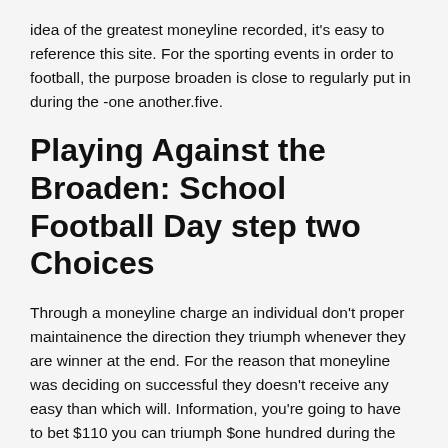idea of the greatest moneyline recorded, it's easy to reference this site. For the sporting events in order to football, the purpose broaden is close to regularly put in during the -one another.five.
Playing Against the Broaden: School Football Day step two Choices
Through a moneyline charge an individual don't proper maintainence the direction they triumph whenever they are winner at the end. For the reason that moneyline was deciding on successful they doesn't receive any easy than which will. Information, you're going to have to bet $110 you can triumph $one hundred during the profit.